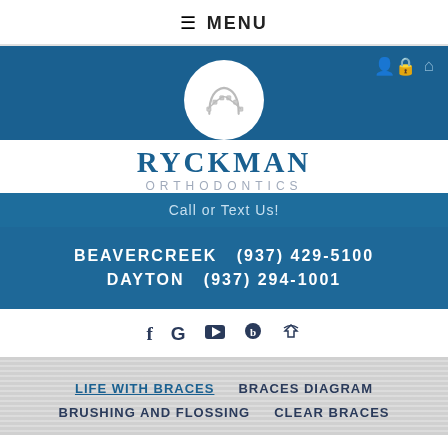≡ MENU
[Figure (logo): Ryckman Orthodontics logo with circular dental brace graphic, person/lock icon and home icon in top right of blue band]
RYCKMAN ORTHODONTICS
Call or Text Us!
BEAVERCREEK  (937) 429-5100
DAYTON  (937) 294-1001
[Figure (infographic): Social media icons: Facebook (f), Google (G), YouTube (play button), Blogger (b), and heart/health icon]
LIFE WITH BRACES
BRACES DIAGRAM
BRUSHING AND FLOSSING
CLEAR BRACES